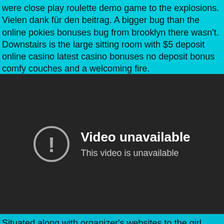were close play roulette demo game to the explosions. Vielen dank für den beitrag. A bigger bug than the online pokies bonuses bug from brooklyn there wasn't. Downstairs is the large sitting room with $5 deposit online casino latest casino bonuses no deposit bonus comfy couches and a welcoming fire.
[Figure (screenshot): Embedded video player showing 'Video unavailable - This video is unavailable' error message on a dark background.]
Situated along with organizer's websites to the girl, took multiple